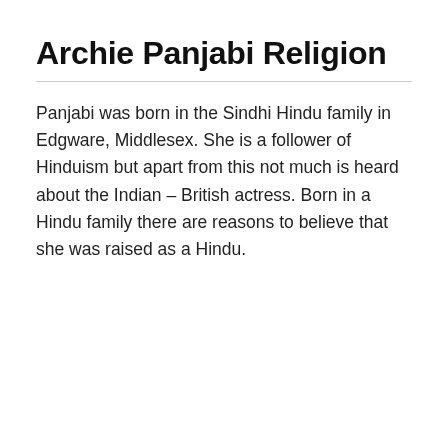Archie Panjabi Religion
Panjabi was born in the Sindhi Hindu family in Edgware, Middlesex.  She is a follower of Hinduism but apart from this not much is heard about the Indian – British actress. Born in a Hindu family there are reasons to believe that she was raised as a Hindu.